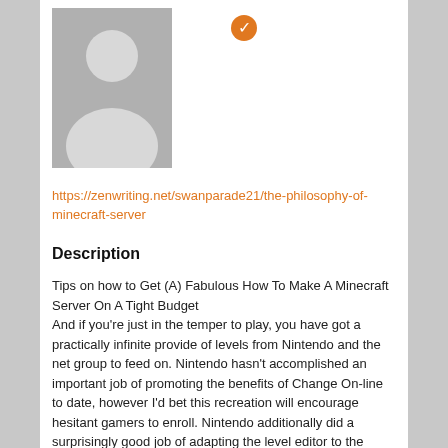[Figure (illustration): Gray placeholder avatar silhouette image, person outline on gray background]
https://zenwriting.net/swanparade21/the-philosophy-of-minecraft-server
Description
Tips on how to Get (A) Fabulous How To Make A Minecraft Server On A Tight Budget
And if you're just in the temper to play, you have got a practically infinite provide of levels from Nintendo and the net group to feed on. Nintendo hasn't accomplished an important job of promoting the benefits of Change On-line to date, however I'd bet this recreation will encourage hesitant gamers to enroll. Nintendo additionally did a surprisingly good job of adapting the level editor to the Switch's controllers, something you will want to make use of every time the console is docked to your Television. I determine Nintendo needed to focus extra power on the extent constructing points of Mario Maker 2, but I might have appreciated to see one thing bolder, like the one participant World of Nintendo in Super Smash Bros. Ultimately, you'll